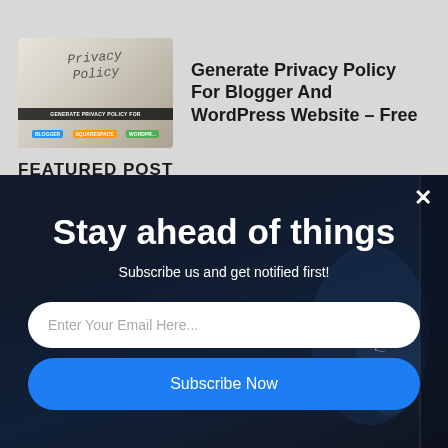[Figure (screenshot): Thumbnail image of a blog post about generating a Privacy Policy, showing a paper with 'Privacy Policy' typed on it and a banner overlay with colored tags for Blogger, Squarespace, and WordPress]
Generate Privacy Policy For Blogger And WordPress Website - Free
FEATURED POST
[Figure (screenshot): Modal popup overlay on a dark background showing a person holding a watch. Contains newsletter subscription form with heading 'Stay ahead of things', subtitle 'Subscribe us and get notified first!', email input field, and Subscribe Now button.]
Stay ahead of things
Subscribe us and get notified first!
Enter Your Email Here...
Subscribe Now